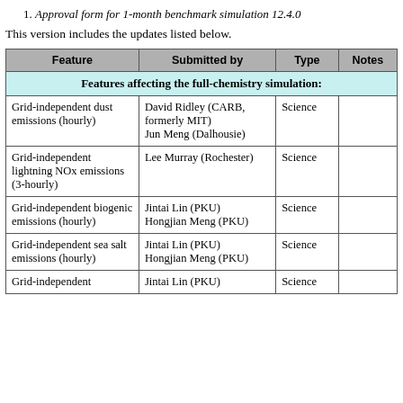1. Approval form for 1-month benchmark simulation 12.4.0
This version includes the updates listed below.
| Feature | Submitted by | Type | Notes |
| --- | --- | --- | --- |
| Features affecting the full-chemistry simulation: |  |  |  |
| Grid-independent dust emissions (hourly) | David Ridley (CARB, formerly MIT)
Jun Meng (Dalhousie) | Science |  |
| Grid-independent lightning NOx emissions (3-hourly) | Lee Murray (Rochester) | Science |  |
| Grid-independent biogenic emissions (hourly) | Jintai Lin (PKU)
Hongjian Meng (PKU) | Science |  |
| Grid-independent sea salt emissions (hourly) | Jintai Lin (PKU)
Hongjian Meng (PKU) | Science |  |
| Grid-independent | Jintai Lin (PKU) | Science |  |